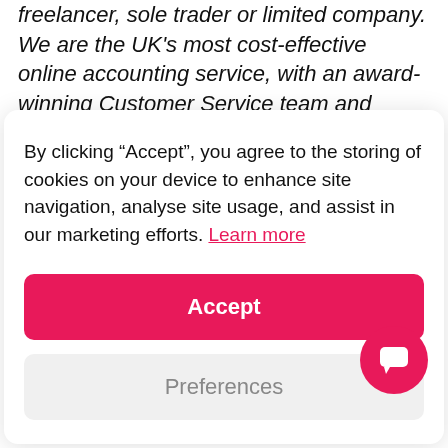freelancer, sole trader or limited company. We are the UK's most cost-effective online accounting service, with an award-winning Customer Service team and Chartered
By clicking “Accept”, you agree to the storing of cookies on your device to enhance site navigation, analyse site usage, and assist in our marketing efforts. Learn more
Accept
Preferences
Crunch team can also complete and file that